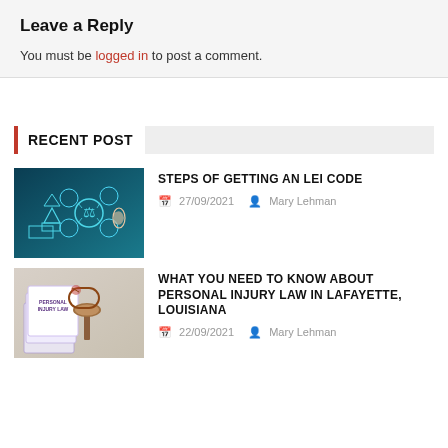Leave a Reply
You must be logged in to post a comment.
RECENT POST
[Figure (photo): Digital legal technology graphic with glowing icons including scales of justice, building, and a hand pointing at a hexagonal icon network on a blue background]
STEPS OF GETTING AN LEI CODE
27/09/2021   Mary Lehman
[Figure (photo): Book titled Personal Injury Law on a desk with a wooden gavel and glasses]
WHAT YOU NEED TO KNOW ABOUT PERSONAL INJURY LAW IN LAFAYETTE, LOUISIANA
22/09/2021   Mary Lehman